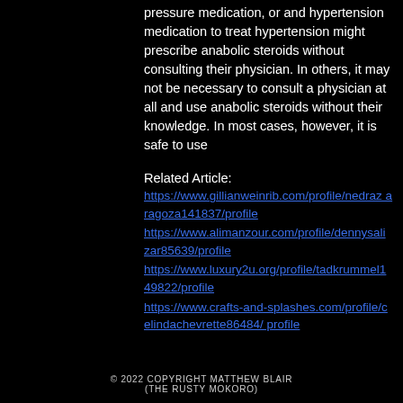pressure medication, or and hypertension medication to treat hypertension might prescribe anabolic steroids without consulting their physician. In others, it may not be necessary to consult a physician at all and use anabolic steroids without their knowledge. In most cases, however, it is safe to use
Related Article:
https://www.gillianweinrib.com/profile/nedrazaragoza141837/profile https://www.alimanzour.com/profile/dennysalizar85639/profile https://www.luxury2u.org/profile/tadkrummel149822/profile https://www.crafts-and-splashes.com/profile/celindachevrette86484/profile
© 2022 COPYRIGHT MATTHEW BLAIR (THE RUSTY MOKORO)